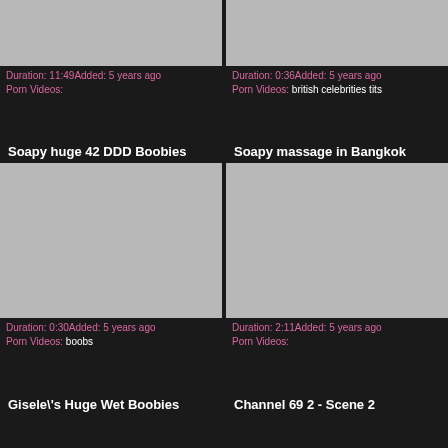[Figure (screenshot): Video thumbnail placeholder (gray rectangle), top-left card, partially cropped]
Duration: 11:49Added: 5 years ago
Porn Videos:
[Figure (screenshot): Video thumbnail placeholder (gray rectangle), top-right card, partially cropped]
Duration: 0:36Added: 5 years ago
Porn Videos: british celebrities tits
Soapy huge 42 DDD Boobies
[Figure (screenshot): Video thumbnail placeholder (gray rectangle), middle-left card]
Duration: 0:30Added: 5 years ago
Porn Videos: boobs
Soapy massage in Bangkok
[Figure (screenshot): Video thumbnail placeholder (gray rectangle), middle-right card]
Duration: 2:11Added: 5 years ago
Porn Videos:
Gisele\'s Huge Wet Boobies
Channel 69 2 - Scene 2